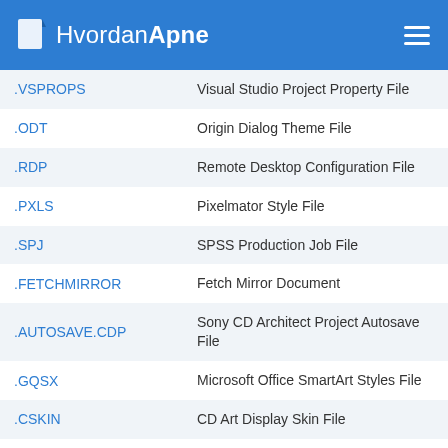HvordanApne
| Extension | Description |
| --- | --- |
| .VSPROPS | Visual Studio Project Property File |
| .ODT | Origin Dialog Theme File |
| .RDP | Remote Desktop Configuration File |
| .PXLS | Pixelmator Style File |
| .SPJ | SPSS Production Job File |
| .FETCHMIRROR | Fetch Mirror Document |
| .AUTOSAVE.CDP | Sony CD Architect Project Autosave File |
| .GQSX | Microsoft Office SmartArt Styles File |
| .CSKIN | CD Art Display Skin File |
| .TYPEIT4ME | TypeIt4Me Clippings File |